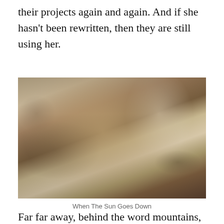dragged her into their agency, where they abused her for their projects again and again. And if she hasn't been rewritten, then they are still using her.
[Figure (photo): A woman with blonde hair and tattoos on her shoulder at an outdoor festival, looking back over her shoulder. She is wearing a black studded top and bracelets. Other festival-goers are visible in the blurred background.]
When The Sun Goes Down
Far far away, behind the word mountains, far from the countries Vokalia and Consonantia, there live the blind